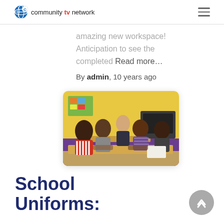community tv network
amazing new workspace! Anticipation to see the completed Read more…
By admin, 10 years ago
[Figure (photo): Students sitting around a table in a classroom with yellow and purple walls]
School Uniforms: